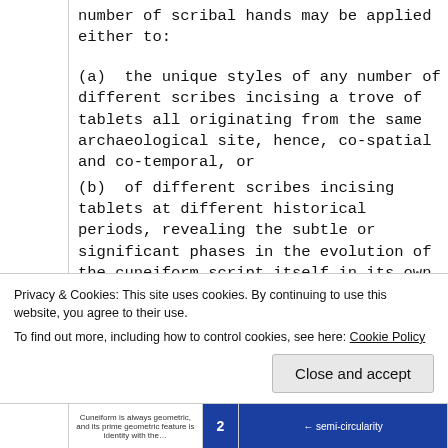number of scribal hands may be applied either to:
(a)  the unique styles of any number of different scribes incising a trove of tablets all originating from the same archaeological site, hence, co-spatial and co-temporal, or
(b)  of different scribes incising tablets at different historical periods, revealing the subtle or significant phases in the evolution of the cuneiform script itself in its own historical timeline, as illustrated by these six cuneiform tablets, each one
Privacy & Cookies: This site uses cookies. By continuing to use this website, you agree to their use.
To find out more, including how to control cookies, see here: Cookie Policy
Close and accept
Cuneiform is always geometric, and its prime geometric feature is identity with the... 2 semi-circularity